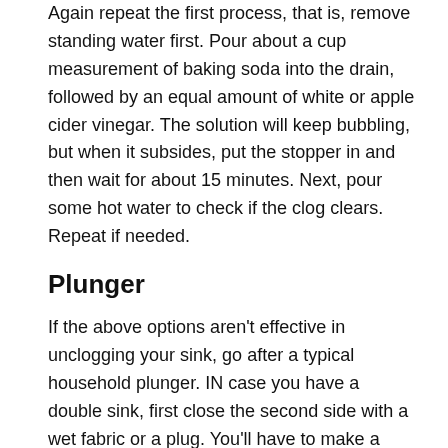Again repeat the first process, that is, remove standing water first. Pour about a cup measurement of baking soda into the drain, followed by an equal amount of white or apple cider vinegar. The solution will keep bubbling, but when it subsides, put the stopper in and then wait for about 15 minutes. Next, pour some hot water to check if the clog clears. Repeat if needed.
Plunger
If the above options aren't effective in unclogging your sink, go after a typical household plunger. IN case you have a double sink, first close the second side with a wet fabric or a plug. You'll have to make a tight seal around the plunger, so fill the side of the sink, you mean to plunge with enough water to cover the bell of the unclogger. Place the unclogger firmly and nicely over the sink and plunge overwhelmingly a